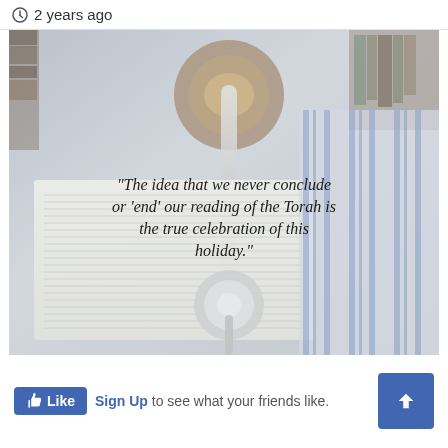2 years ago
[Figure (photo): Torah scroll open on a tallit (prayer shawl) with a text overlay quote about never concluding the reading of the Torah]
"The idea that we never conclude or 'end' our reading of the Torah is the true celebration of this holiday."
Like  Sign Up to see what your friends like.